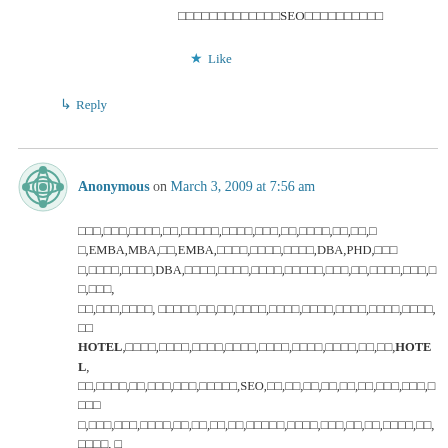□□□□□□□□□□□□□SEO□□□□□□□□□□
★ Like
↳ Reply
Anonymous on March 3, 2009 at 7:56 am
□□□,□□□,□□□□,□□,□□□□□,□□□□,□□□,□□,□□□□,□□,□□,□,□,EMBA,MBA,□□,EMBA,□□□□,□□□□,□□□□,DBA,PHD,□□□,□□□□,□□□□,DBA,□□□□,□□□□,□□□□,□□□□□,□□□,□□,□□□□,□□□,□□,□□□,□□,□□□,□□□□, □□□□□,□□,□□,□□□□,□□□□,□□□□,□□□□,□□□□,□□□□,□□ HOTEL,□□□□,□□□□,□□□□,□□□□,□□□□,□□□□,□□□□,□□,□□,HOTEL,□□,□□□□,□□,□□□,□□□,□□□□□,SEO,□□,□□,□□,□□,□□,□□,□□□,□□□,□□□□,□□□□,□□□,□□□□,□□,□□,□□,□□,□□□□□,□□□□,□□□,□□,□□,□□□□,□□,□□□□, □,□□,□□,□□,mba,□□,□□□,□□□□,□□□□□,□□□,SEO,□□□,□□□□,□□□□,□,SEO,□□□,□□□□,□□□□□,SEO,□□□□,□□□□,□□HOTEL,□□□□,□□□,□□,□□,HOTEL,□□,□□,□□□□,□□□□,□□HOTEL,□□□□,□□□□,□□.□